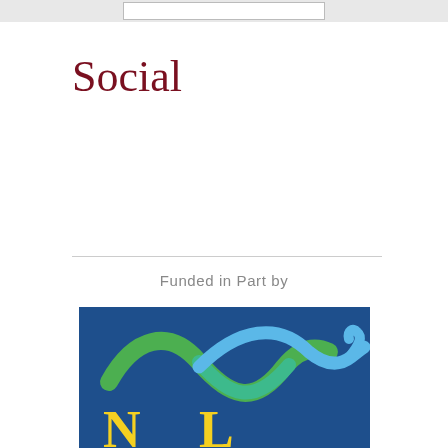Social
Funded in Part  by
[Figure (logo): Logo on dark blue background with green and blue wave/swoosh design above yellow letters 'N' and 'L' (partially visible)]